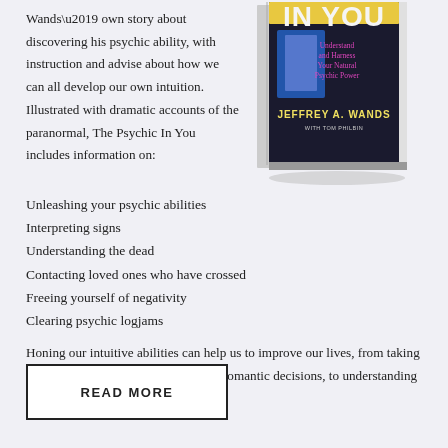Wands’ own story about discovering his psychic ability, with instruction and advise about how we can all develop our own intuition. Illustrated with dramatic accounts of the paranormal, The Psychic In You includes information on:
[Figure (illustration): Book cover of 'The Psychic In You' by Jeffrey A. Wands with Tom Philbin, showing text 'IN YOU', 'Understand and Harness Your Natural Psychic Power' and author name, displayed as a 3D book standing upright with a shadow.]
Unleashing your psychic abilities
Interpreting signs
Understanding the dead
Contacting loved ones who have crossed
Freeing yourself of negativity
Clearing psychic logjams
Honing our intuitive abilities can help us to improve our lives, from taking a better career path, to making better romantic decisions, to understanding opportunities that come our way.
READ MORE